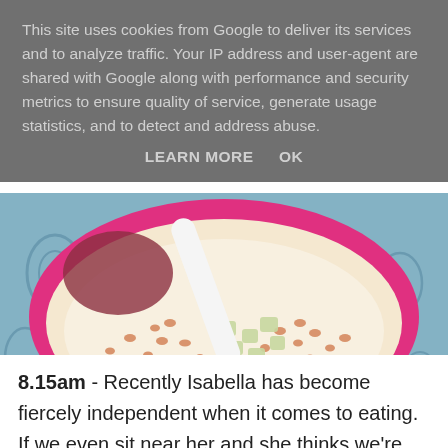This site uses cookies from Google to deliver its services and to analyze traffic. Your IP address and user-agent are shared with Google along with performance and security metrics to ensure quality of service, generate usage statistics, and to detect and address abuse.
LEARN MORE   OK
[Figure (photo): Overhead view of a pink bowl containing puffed rice cereal, diced fruit pieces, and milk, placed on a decorative blue ceramic tile surface]
8.15am - Recently Isabella has become fiercely independent when it comes to eating. If we even sit near her and she thinks we're going to try and help her eat she